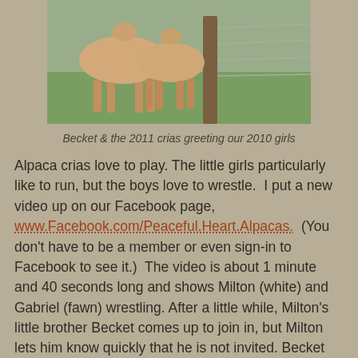[Figure (photo): Alpacas standing near a fence post on green grass — Becket and 2011 crias greeting 2010 girls]
Becket & the 2011 crias greeting our 2010 girls
Alpaca crias love to play. The little girls particularly like to run, but the boys love to wrestle.  I put a new video up on our Facebook page, www.Facebook.com/Peaceful.Heart.Alpacas.  (You don't have to be a member or even sign-in to Facebook to see it.)  The video is about 1 minute and 40 seconds long and shows Milton (white) and Gabriel (fawn) wrestling. After a little while, Milton's little brother Becket comes up to join in, but Milton lets him know quickly that he is not invited. Becket soon gets over his disappointment and starts playing with a weed he finds. I just enjoy spending time